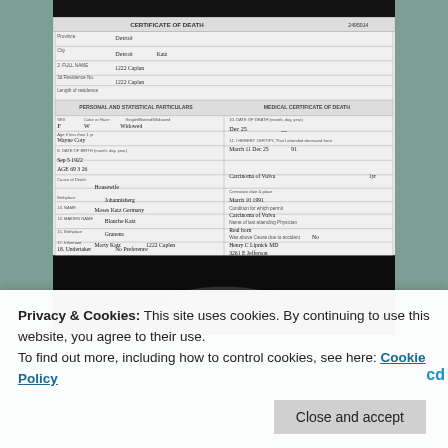[Figure (photo): Scanned Michigan Certificate of Death form, handwritten entries visible. Form shows fields for name, city (Detroit), date of death (Dec 25), cause of death (Carcinoma of Vulva), burial date (March 10, 1991), attending physician signatures. Black and white scan against dark background.]
Privacy & Cookies: This site uses cookies. By continuing to use this website, you agree to their use.
To find out more, including how to control cookies, see here: Cookie Policy
Close and accept